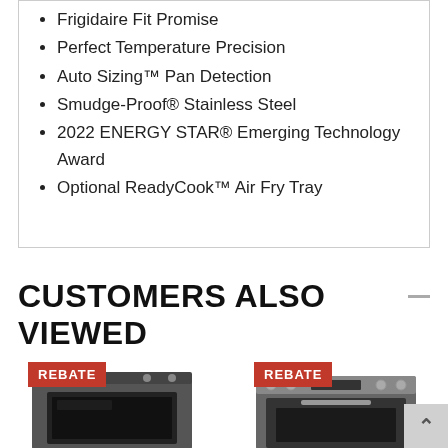Frigidaire Fit Promise
Perfect Temperature Precision
Auto Sizing™ Pan Detection
Smudge-Proof® Stainless Steel
2022 ENERGY STAR® Emerging Technology Award
Optional ReadyCook™ Air Fry Tray
CUSTOMERS ALSO VIEWED
[Figure (photo): Two stainless steel ranges/ovens each with a red REBATE badge in the top left corner]
[Figure (other): Scroll-to-top button with upward arrow]